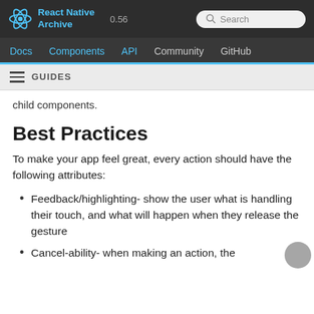React Native Archive 0.56 | Docs Components API Community GitHub
GUIDES
child components.
Best Practices
To make your app feel great, every action should have the following attributes:
Feedback/highlighting- show the user what is handling their touch, and what will happen when they release the gesture
Cancel-ability- when making an action, the